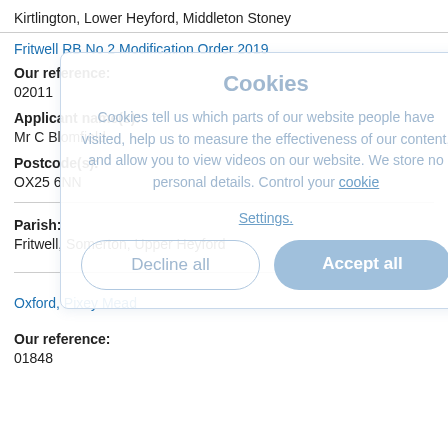Kirtlington, Lower Heyford, Middleton Stoney
Fritwell RB No 2 Modification Order 2019
Our reference:
02011
Applicant name(s):
Mr C Blomfield
Postcode(s):
OX25 6NN
Parish:
Fritwell, Somerton, Upper Heyford
Oxford, Pixey Mead
Our reference:
01848
[Figure (screenshot): Cookie consent overlay dialog with title 'Cookies', body text explaining cookies usage, 'Settings' link, 'Decline all' and 'Accept all' buttons]